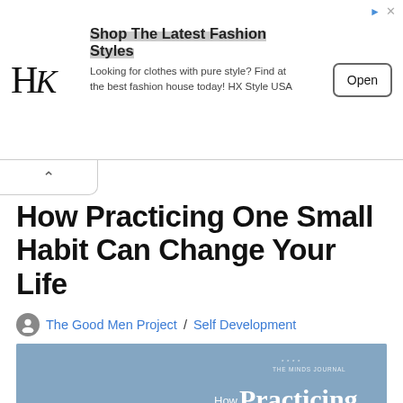[Figure (screenshot): Advertisement banner for HX Style USA fashion store with logo 'HK', headline 'Shop The Latest Fashion Styles', body text 'Looking for clothes with pure style? Find at the best fashion house today! HX Style USA', and an 'Open' button.]
How Practicing One Small Habit Can Change Your Life
The Good Men Project / Self Development
[Figure (photo): Article header image showing a person sitting by the water wearing a black hoodie and beanie, looking to the right. Overlaid text reads 'How Practicing One Small Habit Can Change Your Life' with 'Change Your Life' highlighted in salmon/orange. Watermark reads 'THE MINDS JOURNAL' in upper right.]